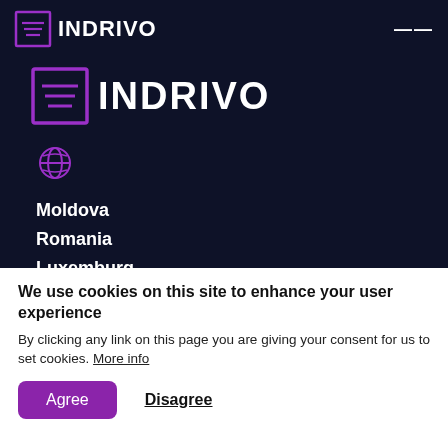[Figure (logo): INDRIVO logo - small version in navigation bar, purple icon with horizontal lines and white text INDRIVO]
[Figure (logo): INDRIVO logo - large version, purple icon with horizontal lines and white text INDRIVO]
[Figure (illustration): Purple globe/earth grid icon]
Moldova
Romania
Luxemburg
We use cookies on this site to enhance your user experience
By clicking any link on this page you are giving your consent for us to set cookies. More info
Agree
Disagree